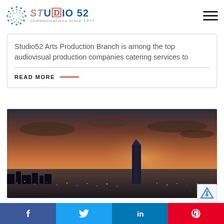Studio 52 — communications since 1977
Studio52 Arts Production Branch is among the top audiovisual production companies catering services to
READ MORE
[Figure (photo): Aerial city skyline at sunset with tall modern skyscraper visible, warm orange sky, city lights below]
Social share bar: Facebook, Twitter, LinkedIn, Pinterest